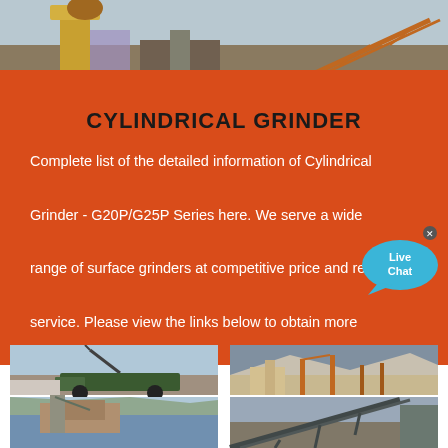[Figure (photo): Industrial machinery/conveyor belt equipment at a mining or construction site, top banner photo]
CYLINDRICAL GRINDER
Complete list of the detailed information of Cylindrical Grinder - G20P/G25P Series here. We serve a wide range of surface grinders at competitive price and reliable service. Please view the links below to obtain more product information.
[Figure (photo): Four construction/mining site photos arranged in a 2x2 grid: dump truck with crane, quarry site with machinery, waterfront construction, conveyor belt structure]